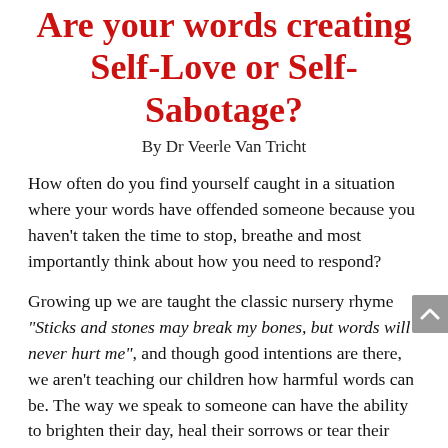Are your words creating Self-Love or Self-Sabotage?
By Dr Veerle Van Tricht
How often do you find yourself caught in a situation where your words have offended someone because you haven't taken the time to stop, breathe and most importantly think about how you need to respond?
Growing up we are taught the classic nursery rhyme "Sticks and stones may break my bones, but words will never hurt me", and though good intentions are there, we aren't teaching our children how harmful words can be. The way we speak to someone can have the ability to brighten their day, heal their sorrows or tear their world apart.
Thanks to social media and the rise of 'keyboard warriors', research has shown that one in four people